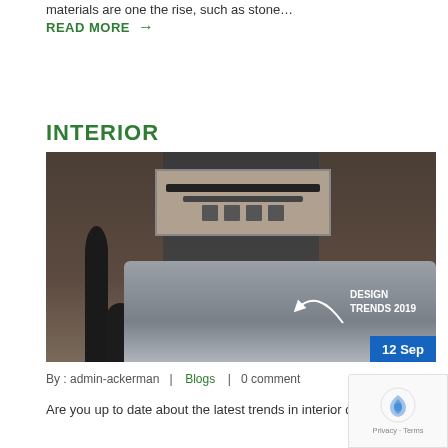materials are one the rise, such as stone…
READ MORE →
INTERIOR
[Figure (photo): Interior design photo of a modern living room with a grey sofa, dark wall panels, artwork with waveform design, floor lamp, and side table. Overlay text reads 'DESIGN TRENDS 2019' with a curved arrow. Date badge shows '12 Sep'.]
By : admin-ackerman  |  Blogs  |  0 comment
Are you up to date about the latest trends in interior design?